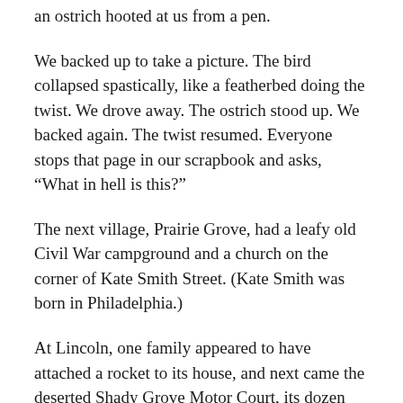an ostrich hooted at us from a pen.
We backed up to take a picture. The bird collapsed spastically, like a featherbed doing the twist. We drove away. The ostrich stood up. We backed again. The twist resumed. Everyone stops that page in our scrapbook and asks, “What in hell is this?”
The next village, Prairie Grove, had a leafy old Civil War campground and a church on the corner of Kate Smith Street. (Kate Smith was born in Philadelphia.)
At Lincoln, one family appeared to have attached a rocket to its house, and next came the deserted Shady Grove Motor Court, its dozen cabins desolate and ghostly. Across the street, a family sold pecans off the back of a pickup.
Then we came sweeping down the plain to Oklahoma. Westville, its easternmost community, showed us a